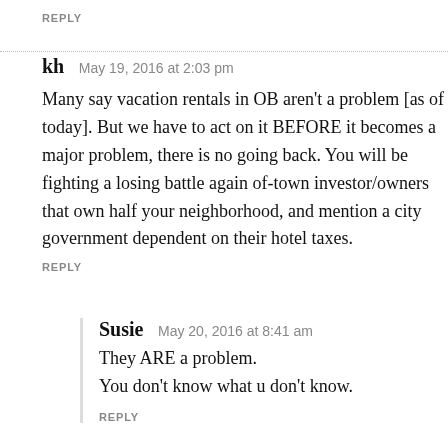REPLY
kh   May 19, 2016 at 2:03 pm
Many say vacation rentals in OB aren't a problem [as of today]. But we have to act on it BEFORE it becomes a major problem, there is no going back. You will be fighting a losing battle against of-town investor/owners that own half your neighborhood, and mention a city government dependent on their hotel taxes.
REPLY
Susie   May 20, 2016 at 8:41 am
They ARE a problem.
You don't know what u don't know.
REPLY